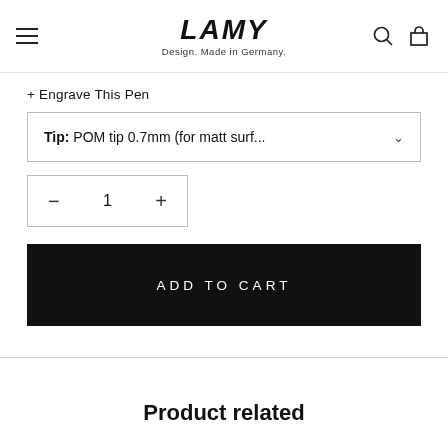LAMY — Design. Made in Germany.
+ Engrave This Pen
Tip: POM tip 0.7mm (for matt surf...
1
ADD TO CART
Product related